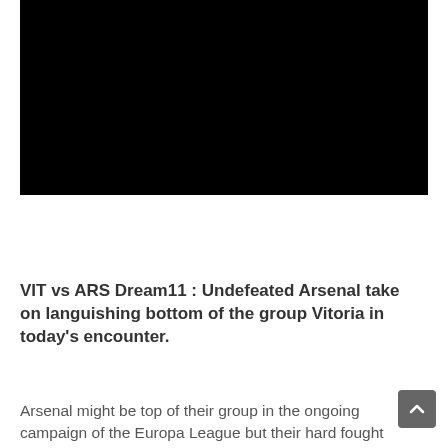[Figure (photo): Black image placeholder / video thumbnail area]
VIT vs ARS Dream11 : Undefeated Arsenal take on languishing bottom of the group Vitoria in today's encounter.
Arsenal might be top of their group in the ongoing campaign of the Europa League but their hard fought